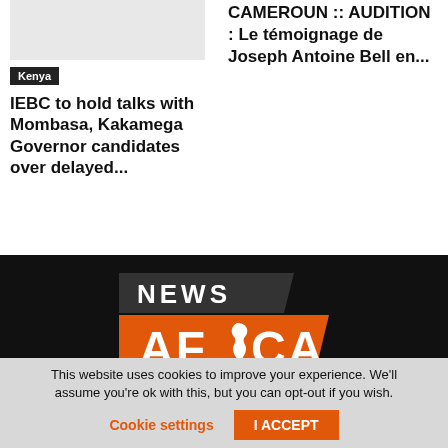[Figure (photo): Light gray image placeholder for Kenya article]
Kenya
IEBC to hold talks with Mombasa, Kakamega Governor candidates over delayed...
CAMEROUN :: AUDITION : Le témoignage de Joseph Antoine Bell en...
[Figure (logo): News Africa logo with dark top bar reading NEWS and orange bottom bar reading AFRICA]
This website uses cookies to improve your experience. We'll assume you're ok with this, but you can opt-out if you wish.
Cookie settings
I ACCEPT